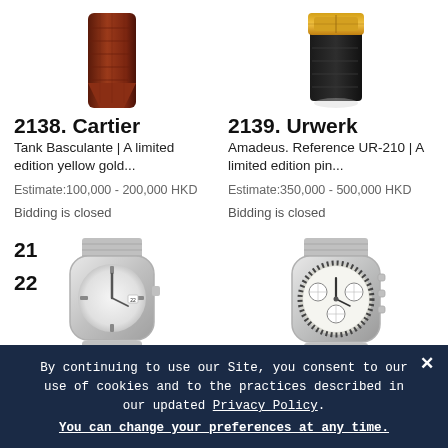[Figure (photo): Partial view of brown crocodile leather watch strap (lot 2138 Cartier)]
[Figure (photo): Partial view of black strap with gold clasp watch (lot 2139 Urwerk)]
2138. Cartier
Tank Basculante | A limited edition yellow gold...
Estimate:100,000 - 200,000 HKD

Bidding is closed
2139. Urwerk
Amadeus. Reference UR-210 | A limited edition pin...
Estimate:350,000 - 500,000 HKD

Bidding is closed
[Figure (photo): Silver/stainless steel sport watch with bracelet (next lot item, left)]
[Figure (photo): White dial chronograph watch with bracelet, likely Rolex Daytona style (next lot item, right)]
21
22
By continuing to use our Site, you consent to our use of cookies and to the practices described in our updated Privacy Policy.
You can change your preferences at any time.